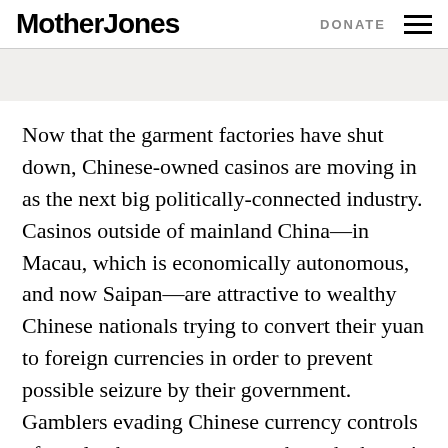Mother Jones | DONATE
Now that the garment factories have shut down, Chinese-owned casinos are moving in as the next big politically-connected industry. Casinos outside of mainland China—in Macau, which is economically autonomous, and now Saipan—are attractive to wealthy Chinese nationals trying to convert their yuan to foreign currencies in order to prevent possible seizure by their government. Gamblers evading Chinese currency controls often play baccarat, a game where the house's advantage is relatively small, with chips provided on credit. They can then cash out in dollars before paying back the